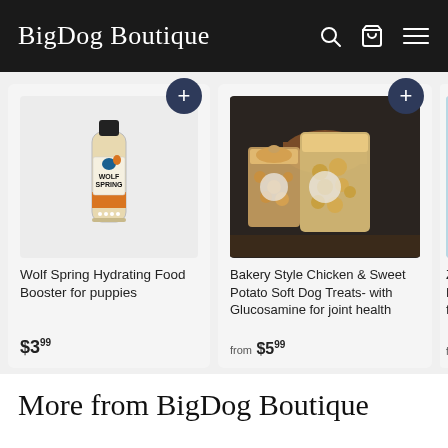BigDog Boutique
[Figure (photo): Wolf Spring Hydrating Food Booster for puppies product bottle]
Wolf Spring Hydrating Food Booster for puppies
$3.99
[Figure (photo): Bakery Style Chicken & Sweet Potato Soft Dog Treats bags]
Bakery Style Chicken & Sweet Potato Soft Dog Treats- with Glucosamine for joint health
from $5.99
[Figure (photo): Ziwi Peak product partially visible]
Ziwi P... Dried... for Do...
from $...
More from BigDog Boutique